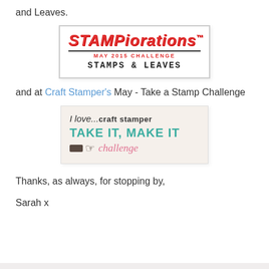and Leaves.
[Figure (logo): STAMPiorations logo badge: large red italic text 'STAMPiorations™', a horizontal line below, red text 'MAY 2015 CHALLENGE', and bold monospace text 'STAMPS & LEAVES']
and at Craft Stamper's May - Take a Stamp Challenge
[Figure (logo): Craft Stamper badge on cream background: 'I love...craft stamper' in italic, 'TAKE IT, MAKE IT' in large teal bold text, and 'challenge' in pink cursive with a hand/pointing icon]
Thanks, as always, for stopping by,
Sarah x